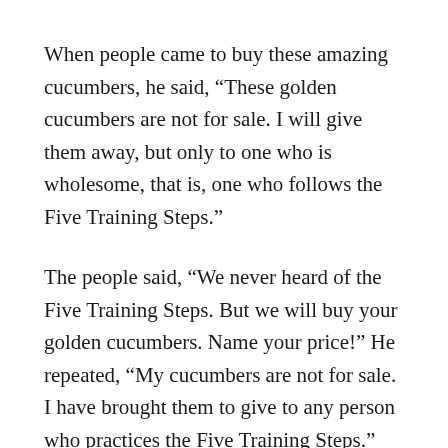When people came to buy these amazing cucumbers, he said, “These golden cucumbers are not for sale. I will give them away, but only to one who is wholesome, that is, one who follows the Five Training Steps.”
The people said, “We never heard of the Five Training Steps. But we will buy your golden cucumbers. Name your price!” He repeated, “My cucumbers are not for sale. I have brought them to give to any person who practices the Five Training Steps.” The people said, “This man has come here only to play tricks on us.” So they left him alone.